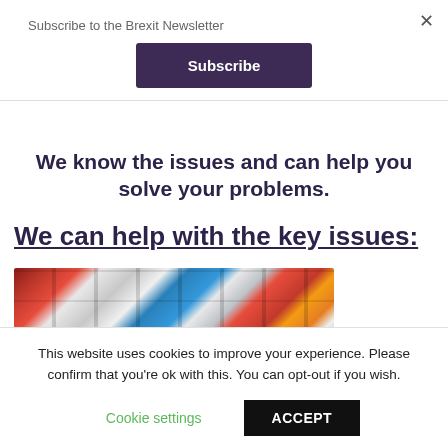Subscribe to the Brexit Newsletter
×
Subscribe
We know the issues and can help you solve your problems.
We can help with the key issues:
[Figure (photo): Aerial view of many coloured shipping containers / lorry trailers packed together]
This website uses cookies to improve your experience. Please confirm that you're ok with this. You can opt-out if you wish.
Cookie settings
ACCEPT